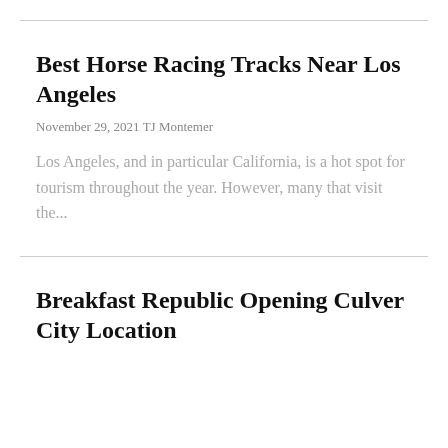Best Horse Racing Tracks Near Los Angeles
November 29, 2021 TJ Montemer
Los Angeles, and in particular California, is a hot spot for tourism throughout the year. However, many that visit the...
Breakfast Republic Opening Culver City Location